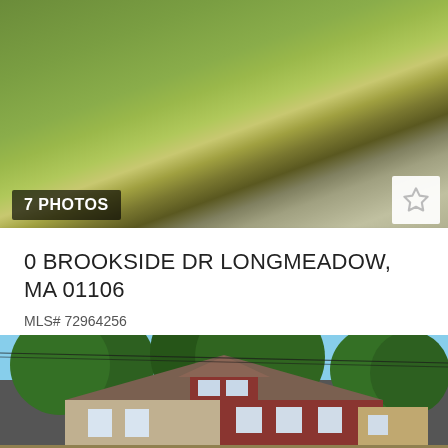[Figure (photo): Aerial or ground-level view of a grassy lot with driveway, fall foliage, Brookside Dr Longmeadow property]
7 PHOTOS
0 BROOKSIDE DR LONGMEADOW, MA 01106
MLS# 72964256
$329,000
[Figure (photo): Exterior photo of a red/brick house with white trim, dormers, surrounded by large green trees, blue sky background]